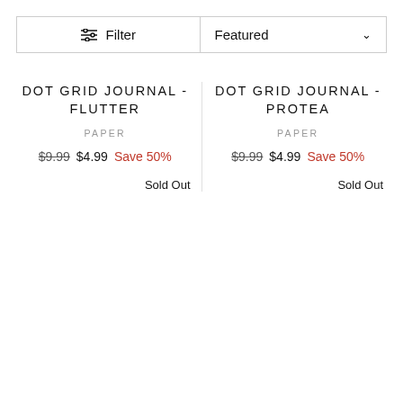Filter
Featured
DOT GRID JOURNAL - FLUTTER
PAPER
$9.99  $4.99  Save 50%
Sold Out
DOT GRID JOURNAL - PROTEA
PAPER
$9.99  $4.99  Save 50%
Sold Out